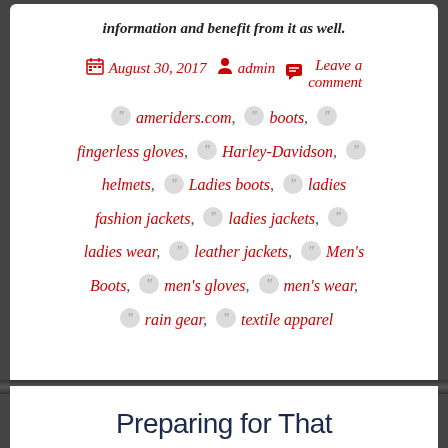information and benefit from it as well.
August 30, 2017  admin  Leave a comment
ameriders.com, boots, fingerless gloves, Harley-Davidson, helmets, Ladies boots, ladies fashion jackets, ladies jackets, ladies wear, leather jackets, Men's Boots, men's gloves, men's wear, rain gear, textile apparel
Preparing for That